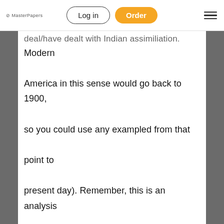MasterPapers — Log in | Order
deal/have dealt with Indian assimiliation.
Modern America in this sense would go back to 1900, so you could use any exampled from that point to present day). Remember, this is an analysis paper, not a summary paper! Do not just summarize your selection! The secondary sources need to be books, articles, or comprehensive web sites. Web pages